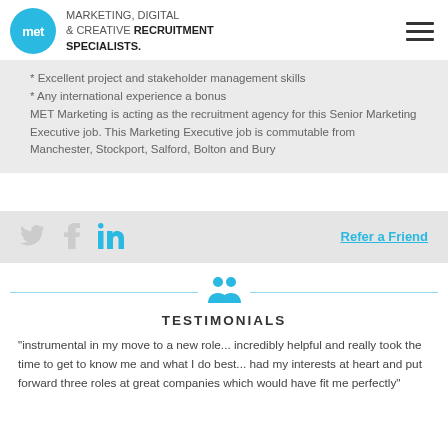MARKETING, DIGITAL & CREATIVE RECRUITMENT SPECIALISTS. [MET logo]
* Excellent project and stakeholder management skills
* Any international experience a bonus
MET Marketing is acting as the recruitment agency for this Senior Marketing Executive job. This Marketing Executive job is commutable from Manchester, Stockport, Salford, Bolton and Bury
[Figure (infographic): Social media icons (Twitter bird, Facebook f, LinkedIn in) on left; 'Refer a Friend' link on right, on a light gray background]
[Figure (illustration): Two blue people/users icon above a horizontal blue divider line]
TESTIMONIALS
"instrumental in my move to a new role... incredibly helpful and really took the time to get to know me and what I do best... had my interests at heart and put forward three roles at great companies which would have fit me perfectly"